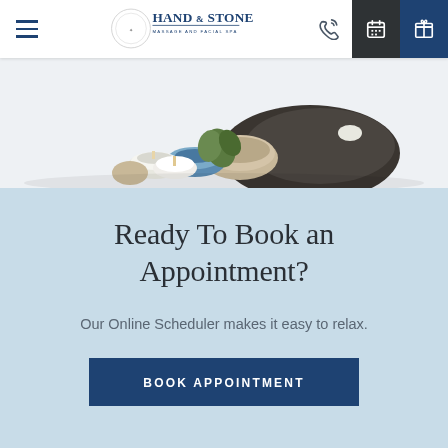Hand & Stone Massage and Facial Spa — Navigation bar with hamburger menu, logo, phone icon, calendar icon, and gift icon
[Figure (photo): Spa items including candles, stones, rolled towels, and green plant on a light background]
Ready To Book an Appointment?
Our Online Scheduler makes it easy to relax.
BOOK APPOINTMENT